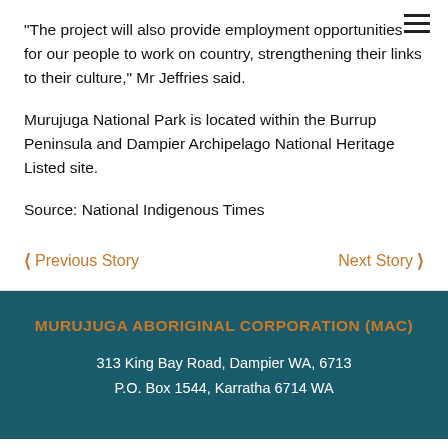“The project will also provide employment opportunities for our people to work on country, strengthening their links to their culture,” Mr Jeffries said.
Murujuga National Park is located within the Burrup Peninsula and Dampier Archipelago National Heritage Listed site.
Source: National Indigenous Times
❮ Previous Story
Next Story ❯
MURUJUGA ABORIGINAL CORPORATION (MAC)
313 King Bay Road, Dampier WA, 6713
P.O. Box 1544, Karratha 6714 WA